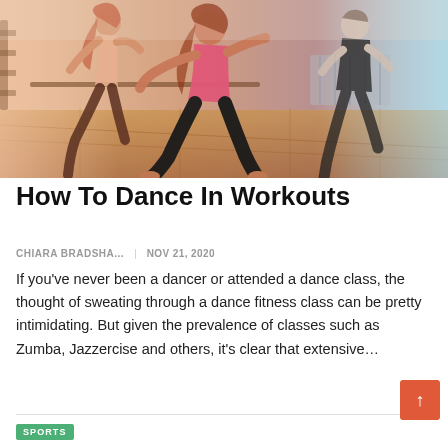[Figure (photo): Three women dancing energetically in a fitness studio with wooden floors and gymnastics equipment in the background. The dancer in the foreground wears a pink top and black leggings, mid-lunge.]
How To Dance In Workouts
CHIARA BRADSHA...   NOV 21, 2020
If you’ve never been a dancer or attended a dance class, the thought of sweating through a dance fitness class can be pretty intimidating. But given the prevalence of classes such as Zumba, Jazzercise and others, it’s clear that extensive…